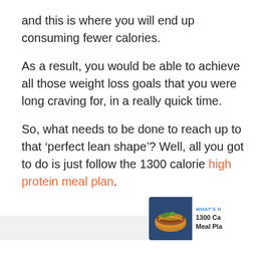and this is where you will end up consuming fewer calories.
As a result, you would be able to achieve all those weight loss goals that you were long craving for, in a really quick time.
So, what needs to be done to reach up to that ‘perfect lean shape’? Well, all you got to do is just follow the 1300 calorie high protein meal plan.
[Figure (screenshot): Social media interaction widget on the right side showing a blue heart/like button, a count of 5, and a share button with a plus icon. Below that is a partially visible related article card showing an image of a bowl of food and text reading 'WHAT'S N... 1300 Ca... Meal Pla...']